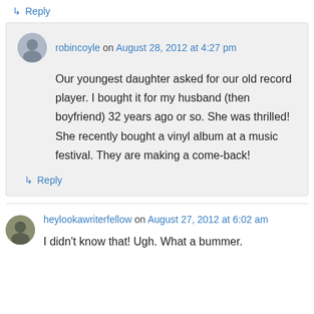↳ Reply
robincoyle on August 28, 2012 at 4:27 pm
Our youngest daughter asked for our old record player. I bought it for my husband (then boyfriend) 32 years ago or so. She was thrilled! She recently bought a vinyl album at a music festival. They are making a come-back!
↳ Reply
heylookawriterfellow on August 27, 2012 at 6:02 am
I didn't know that! Ugh. What a bummer.